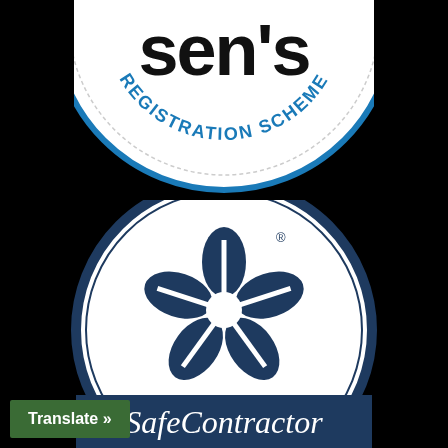[Figure (logo): Top portion of a circular badge/logo for SEN'S REGISTRATION SCHEME. White circle with blue arc text reading 'REGISTRATION SCHEME' around the bottom and large bold black text 'sen's' at the top. Set against a black background.]
[Figure (logo): SafeContractor logo. A circular badge with a dark navy blue border, white interior featuring a five-petal flower/star emblem in dark navy blue with white highlights, and a dark navy blue rectangular banner at the bottom with white italic text reading 'SafeContractor'. A registered trademark symbol appears near the top right of the flower.]
Translate »